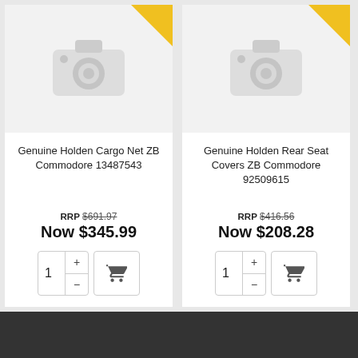[Figure (photo): Product image placeholder (camera icon) for Genuine Holden Cargo Net ZB Commodore 13487543]
Genuine Holden Cargo Net ZB Commodore 13487543
RRP $691.97
Now $345.99
[Figure (photo): Product image placeholder (camera icon) for Genuine Holden Rear Seat Covers ZB Commodore 92509615]
Genuine Holden Rear Seat Covers ZB Commodore 92509615
RRP $416.56
Now $208.28